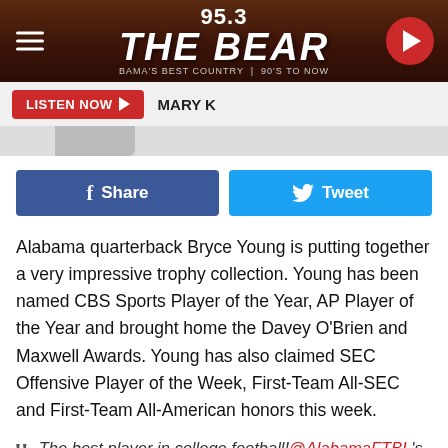[Figure (screenshot): 95.3 The Bear radio station logo header bar with hamburger menu, station logo, and play button]
[Figure (screenshot): Listen Now button bar showing MARY K]
[Figure (screenshot): Partial circular image at bottom of header area]
[Figure (screenshot): Facebook Share and Twitter Tweet social sharing buttons]
Alabama quarterback Bryce Young is putting together a very impressive trophy collection. Young has been named CBS Sports Player of the Year, AP Player of the Year and brought home the Davey O'Brien and Maxwell Awards. Young has also claimed SEC Offensive Player of the Week, First-Team All-SEC and First-Team All-American honors this week.
The best player in college football!@AlabamaFTBL's Bryce Young wins the 2021 Maxwell Award 🏆 pic.twitter.com/wr5iTRboXO